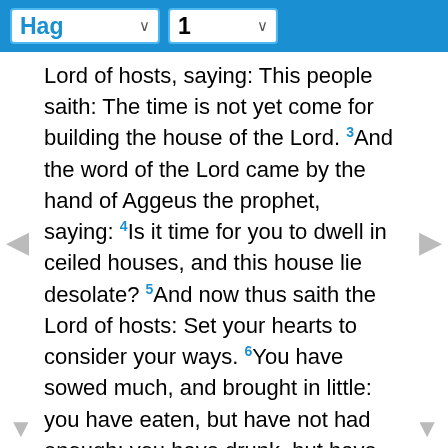Hag 1
Lord of hosts, saying: This people saith: The time is not yet come for building the house of the Lord. 3And the word of the Lord came by the hand of Aggeus the prophet, saying: 4Is it time for you to dwell in ceiled houses, and this house lie desolate? 5And now thus saith the Lord of hosts: Set your hearts to consider your ways. 6You have sowed much, and brought in little: you have eaten, but have not had enough: you have drunk, but have not been filled with drink: you have clothed yourselves, but have not been warmed: and he that hath earned wages, put them into a bag with holes.
7Thus saith the Lord of hosts: Set Your hearts upon your ways: 8Go up to the mountain, bring